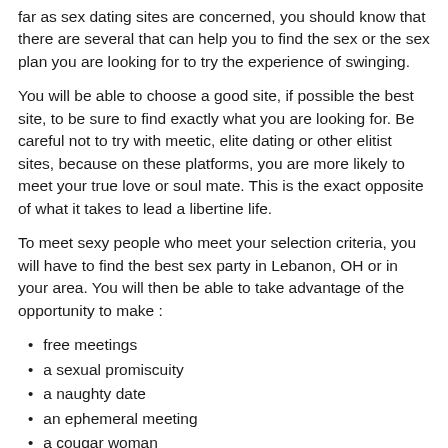far as sex dating sites are concerned, you should know that there are several that can help you to find the sex or the sex plan you are looking for to try the experience of swinging.
You will be able to choose a good site, if possible the best site, to be sure to find exactly what you are looking for. Be careful not to try with meetic, elite dating or other elitist sites, because on these platforms, you are more likely to meet your true love or soul mate. This is the exact opposite of what it takes to lead a libertine life.
To meet sexy people who meet your selection criteria, you will have to find the best sex party in Lebanon, OH or in your area. You will then be able to take advantage of the opportunity to make :
free meetings
a sexual promiscuity
a naughty date
an ephemeral meeting
a cougar woman
a wife swapping, etc.